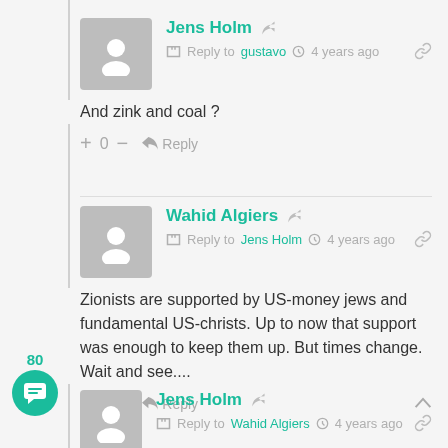Jens Holm — Reply to gustavo — 4 years ago
And zink and coal ?
+ 0 — Reply
Wahid Algiers — Reply to Jens Holm — 4 years ago
Zionists are supported by US-money jews and fundamental US-christs. Up to now that support was enough to keep them up. But times change. Wait and see....
+ 0 — Reply
Jens Holm — Reply to Wahid Algiers — 4 years ago
80